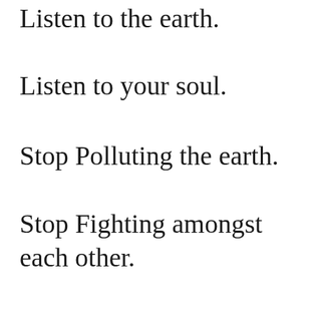Listen to the earth.
Listen to your soul.
Stop Polluting the earth.
Stop Fighting amongst each other.